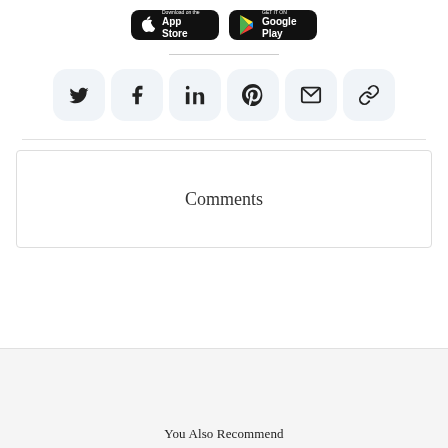[Figure (logo): App Store and Google Play download buttons]
[Figure (infographic): Social share icons row: Twitter, Facebook, LinkedIn, Pinterest, Email, Link]
Comments
You Also Recommend